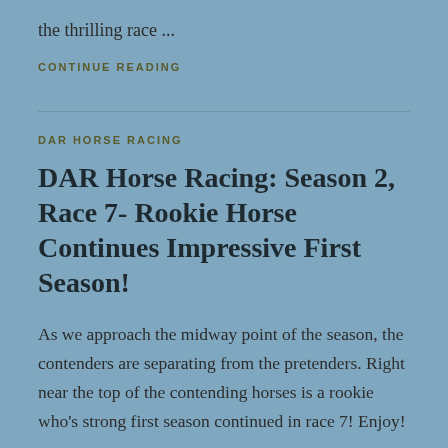the thrilling race …
CONTINUE READING
DAR HORSE RACING
DAR Horse Racing: Season 2, Race 7- Rookie Horse Continues Impressive First Season!
As we approach the midway point of the season, the contenders are separating from the pretenders. Right near the top of the contending horses is a rookie who's strong first season continued in race 7! Enjoy!